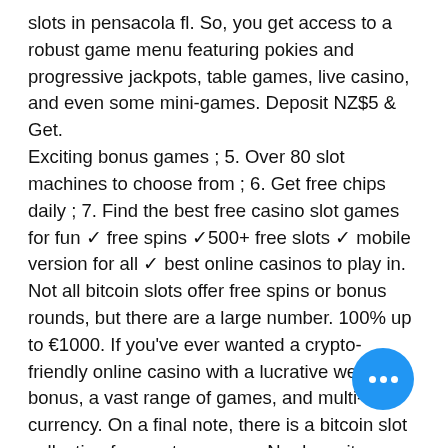slots in pensacola fl. So, you get access to a robust game menu featuring pokies and progressive jackpots, table games, live casino, and even some mini-games. Deposit NZ$5 & Get.
Exciting bonus games ; 5. Over 80 slot machines to choose from ; 6. Get free chips daily ; 7. Find the best free casino slot games for fun ✓ free spins ✓500+ free slots ✓ mobile version for all ✓ best online casinos to play in. Not all bitcoin slots offer free spins or bonus rounds, but there are a large number. 100% up to €1000. If you've ever wanted a crypto-friendly online casino with a lucrative welcome bonus, a vast range of games, and multi-currency. On a final note, there is a bitcoin slot collection for cryptocurrency. No deposit bonuses are a type of casino promotion that gives players free bonus to use on casino slot games. bonus can be used on a wide range of
[Figure (other): Blue circular chat button with three white dots in the bottom-right corner of the page]